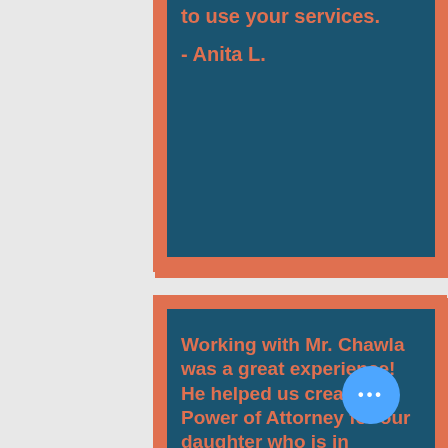fantastic! It was a pleasure to use your services.
- Anita L.
Working with Mr. Chawla was a great experience! He helped us create a Power of Attorney for our daughter who is in college.
He made her feel at ease when making certain decisions and made it easier for us as parents to aide her in medical and financial matters.